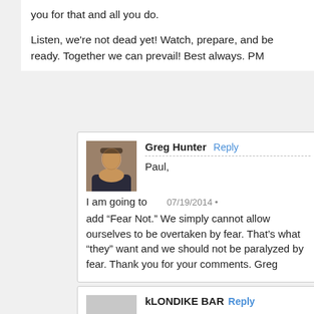you for that and all you do.
Listen, we're not dead yet! Watch, prepare, and be ready. Together we can prevail! Best always. PM
Greg Hunter Reply
Paul,
07/19/2014 •
I am going to add “Fear Not.” We simply cannot allow ourselves to be overtaken by fear. That’s what “they” want and we should not be paralyzed by fear. Thank you for your comments. Greg
kLONDIKE BAR Reply